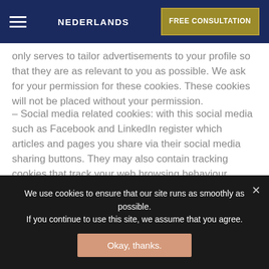NEDERLANDS | FREE CONSULTATION
only serves to tailor advertisements to your profile so that they are as relevant to you as possible. We ask for your permission for these cookies. These cookies will not be placed without your permission.
– Social media related cookies: with this social media such as Facebook and LinkedIn register which articles and pages you share via their social media sharing buttons. They may also contain tracking cookies that track your web browsing behaviour.
– Site improvement cookies/optimization cookies: this allows us to test different versions of a web page to see which page is best visited.
We use cookies to ensure that our site runs as smoothly as possible.
If you continue to use this site, we assume that you agree.
Okay, thanks.